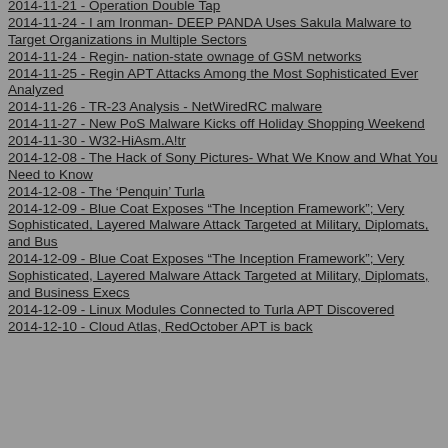2014-11-21 - Operation Double Tap
2014-11-24 - I am Ironman- DEEP PANDA Uses Sakula Malware to Target Organizations in Multiple Sectors
2014-11-24 - Regin- nation-state ownage of GSM networks
2014-11-25 - Regin APT Attacks Among the Most Sophisticated Ever Analyzed
2014-11-26 - TR-23 Analysis - NetWiredRC malware
2014-11-27 - New PoS Malware Kicks off Holiday Shopping Weekend
2014-11-30 - W32-HiAsm.A!tr
2014-12-08 - The Hack of Sony Pictures- What We Know and What You Need to Know
2014-12-08 - The ‘Penquin’ Turla
2014-12-09 - Blue Coat Exposes “The Inception Framework”; Very Sophisticated, Layered Malware Attack Targeted at Military, Diplomats, and Bus
2014-12-09 - Blue Coat Exposes “The Inception Framework”; Very Sophisticated, Layered Malware Attack Targeted at Military, Diplomats, and Business Execs
2014-12-09 - Linux Modules Connected to Turla APT Discovered
2014-12-10 - Cloud Atlas, RedOctober APT is back